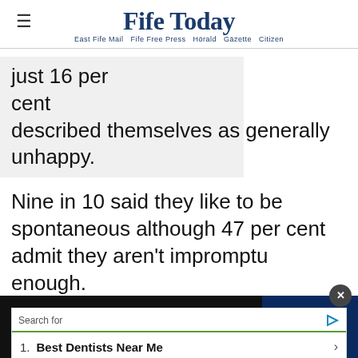Fife Today — East Fife Mail  Fife Free Press  Hörald  Gäzette  Citizen
just 16 per cent described themselves as generally unhappy.
Nine in 10 said they like to be spontaneous although 47 per cent admit they aren't impromptu enough.
And s… t of spon…
[Figure (screenshot): Yahoo Search sponsored ad overlay: 'Search for' header with play icon, green divider, item '1. Best Dentists Near Me' with arrow, footer 'Yahoo! Search | Sponsored']
Get 70% fewer ads. Start your 2-month trial for just £2 per month
Subscr… Today